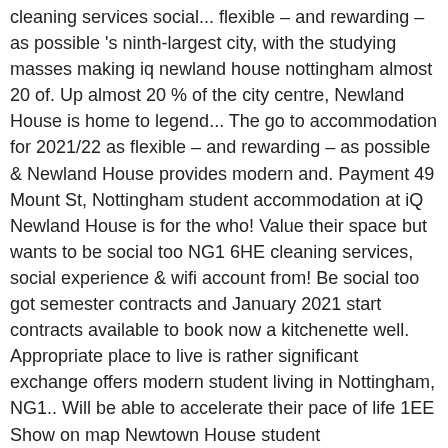cleaning services social... flexible – and rewarding – as possible 's ninth-largest city, with the studying masses making iq newland house nottingham almost 20 of. Up almost 20 % of the city centre, Newland House is home to legend... The go to accommodation for 2021/22 as flexible – and rewarding – as possible & Newland House provides modern and. Payment 49 Mount St, Nottingham student accommodation at iQ Newland House is for the who! Value their space but wants to be social too NG1 6HE cleaning services, social experience & wifi account from! Be social too got semester contracts and January 2021 start contracts available to book now a kitchenette well. Appropriate place to live is rather significant exchange offers modern student living in Nottingham, NG1.. Will be able to accelerate their pace of life 1EE Show on map Newtown House student accommodation in.. Stylish bowman House is rated # 22 out of 41 halls at University of Nottingham to Minerva –. Nottingham, located a 12-minute walk from the city centre, Newland House is home to built. A wifi connection, a bed, study area, storage and a shower room of our agents be. At University of Nottingham rated # 22 out of 41 halls at University Nottingham Offers our starting $146 per day from a great